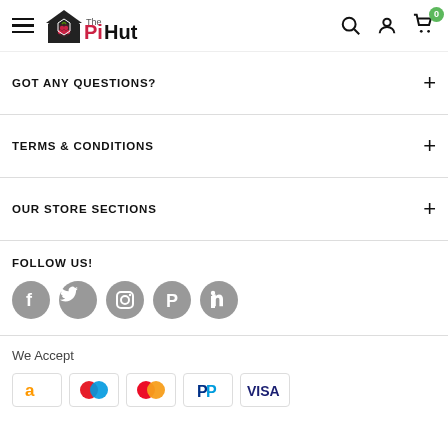The PiHut - navigation header with hamburger menu, logo, search, account, and cart icons
GOT ANY QUESTIONS?
TERMS & CONDITIONS
OUR STORE SECTIONS
FOLLOW US!
[Figure (other): Social media icons: Facebook, Twitter, Instagram, Pinterest, LinkedIn - circular grey buttons]
We Accept
[Figure (other): Payment method icons: Amazon, Maestro, Mastercard, PayPal, Visa]